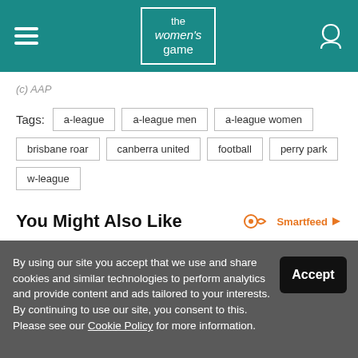the women's game
(c) AAP
Tags: a-league  a-league men  a-league women  brisbane roar  canberra united  football  perry park  w-league
You Might Also Like
Smartfeed
By using our site you accept that we use and share cookies and similar technologies to perform analytics and provide content and ads tailored to your interests. By continuing to use our site, you consent to this. Please see our Cookie Policy for more information.